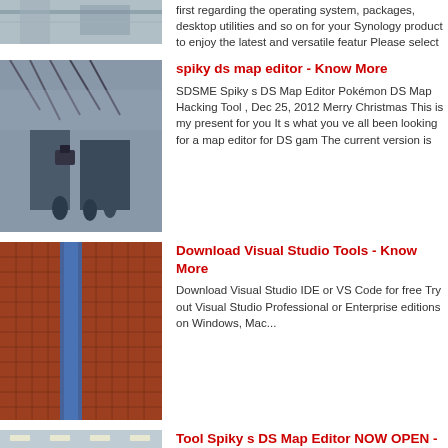[Figure (photo): Partial top image - industrial/mechanical scene, cropped at top]
first regarding the operating system, packages, desktop utilities and so on for your Synology product to enjoy the latest and versatile featur Please select
[Figure (photo): Industrial scene with workers and large machinery/cameras]
spiky ds map editor - Know More
SDSME Spiky s DS Map Editor Pokémon DS Map Hacking Tool , Dec 25, 2012 Merry Christmas This is my present for you It s what you ve all been looking for a map editor for DS gam The current version is
[Figure (photo): Close-up of a grid/mesh structure with metallic blue element]
Download Visual Studio Tools - Know More
Download Visual Studio IDE or VS Code for free Try out Visual Studio Professional or Enterprise editions on Windows, Mac...
[Figure (photo): Large industrial hangar/factory interior with workers]
Tool Spiky s DS Map Editor NOW OPEN - Know More
10-05-2020 0183 32 Tool Spiky s DS Map Editor NOW OPEN-SOURCE Page 28 Started by Spiky-Eared Pichu September 14th, 2012 2 19 PM 304343 views 735 replies , Alrighty, first of all, download and install